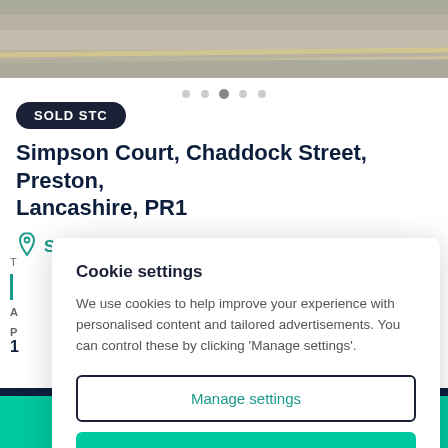[Figure (photo): Partial view of a street/road photograph used as property listing hero image]
SOLD STC
Simpson Court, Chaddock Street, Preston, Lancashire, PR1
See map
Cookie settings
We use cookies to help improve your experience with personalised content and tailored advertisements. You can control these by clicking 'Manage settings'.
Manage settings
Allow all cookies